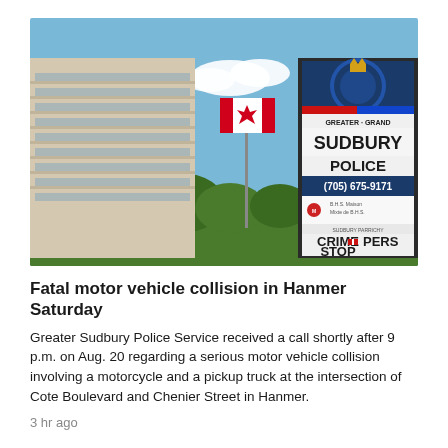[Figure (photo): Outdoor photo showing the Greater Sudbury Police headquarters building on the left (a multi-story beige concrete building with horizontal window bands), a Canadian flag on a flagpole in the center, and a large police signage board on the right displaying 'GREATER GRAND SUDBURY POLICE (705) 675-9171', along with logos for 'B.H.S. Maison Mixte de B.H.S.' and 'Sudbury Parrichy Crime Stoppers'. Blue sky with a few white clouds in the background, green trees visible.]
Fatal motor vehicle collision in Hanmer Saturday
Greater Sudbury Police Service received a call shortly after 9 p.m. on Aug. 20 regarding a serious motor vehicle collision involving a motorcycle and a pickup truck at the intersection of Cote Boulevard and Chenier Street in Hanmer.
3 hr ago